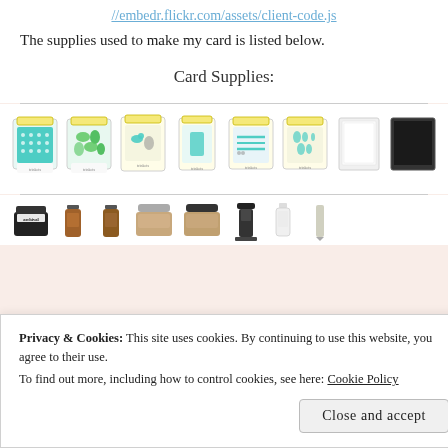//embedr.flickr.com/assets/client-code.js
The supplies used to make my card is listed below.
Card Supplies:
[Figure (photo): Row of 8 crafting supply product images: patterned paper/stamp pads in teal/yellow packaging, a stamp set with animals, die cut shapes, border dies, oval dies, white card stock, and black card stock]
[Figure (photo): Row of crafting ink/paint supply product images: various small jars and bottles of inks, paints and adhesives]
Privacy & Cookies: This site uses cookies. By continuing to use this website, you agree to their use.
To find out more, including how to control cookies, see here: Cookie Policy
Close and accept